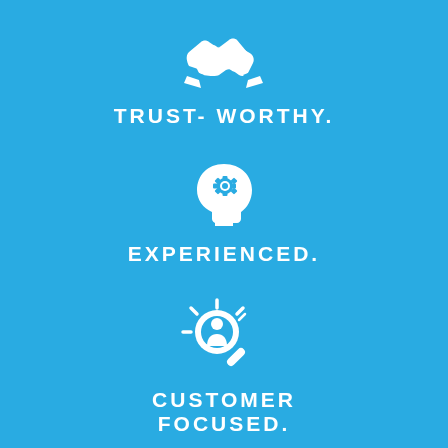[Figure (illustration): White handshake icon on blue background representing trustworthiness]
TRUST- WORTHY.
[Figure (illustration): White head with gear/cog icon representing experience and intelligence]
EXPERIENCED.
[Figure (illustration): White magnifying glass with person/customer icon representing customer focus]
CUSTOMER FOCUSED.